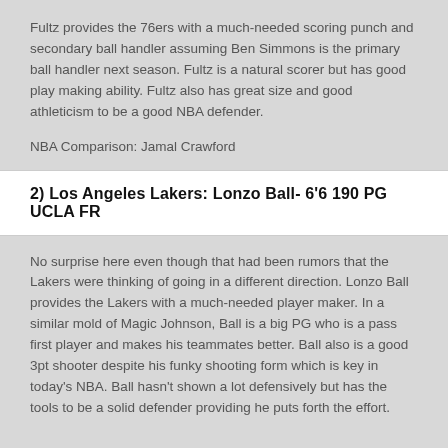Fultz provides the 76ers with a much-needed scoring punch and secondary ball handler assuming Ben Simmons is the primary ball handler next season. Fultz is a natural scorer but has good play making ability. Fultz also has great size and good athleticism to be a good NBA defender.
NBA Comparison: Jamal Crawford
2) Los Angeles Lakers: Lonzo Ball- 6'6 190 PG UCLA FR
No surprise here even though that had been rumors that the Lakers were thinking of going in a different direction. Lonzo Ball provides the Lakers with a much-needed player maker. In a similar mold of Magic Johnson, Ball is a big PG who is a pass first player and makes his teammates better. Ball also is a good 3pt shooter despite his funky shooting form which is key in today's NBA. Ball hasn't shown a lot defensively but has the tools to be a solid defender providing he puts forth the effort.